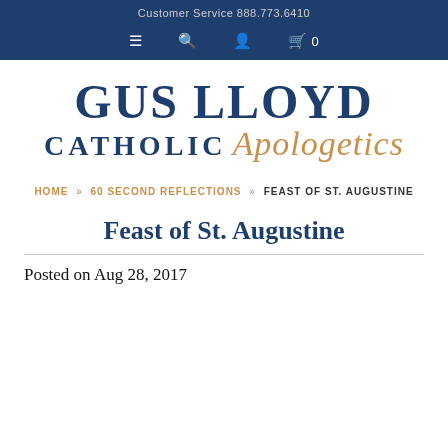Customer Service 888.773.6410
[Figure (logo): Gus Lloyd Catholic Apologetics logo with dark blue serif text for 'GUS LLOYD' and 'CATHOLIC' and gold italic script for 'Apologetics']
HOME » 60 SECOND REFLECTIONS » FEAST OF ST. AUGUSTINE
Feast of St. Augustine
Posted on Aug 28, 2017